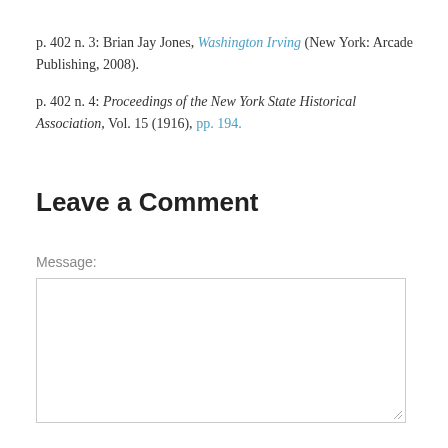p. 402 n. 3: Brian Jay Jones, Washington Irving (New York: Arcade Publishing, 2008).
p. 402 n. 4: Proceedings of the New York State Historical Association, Vol. 15 (1916), pp. 194.
Leave a Comment
Message:
[Figure (other): Empty text area input box for user comment message]